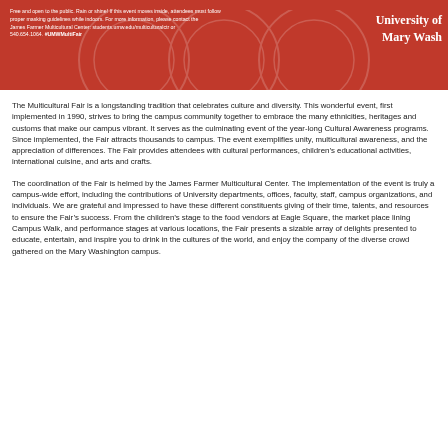[Figure (photo): Red banner header with University of Mary Washington logo on the right and event information text on the left, including masking guidelines and contact information for the James Farmer Multicultural Center.]
The Multicultural Fair is a longstanding tradition that celebrates culture and diversity. This wonderful event, first implemented in 1990, strives to bring the campus community together to embrace the many ethnicities, heritages and customs that make our campus vibrant. It serves as the culminating event of the year-long Cultural Awareness programs. Since implemented, the Fair attracts thousands to campus. The event exemplifies unity, multicultural awareness, and the appreciation of differences. The Fair provides attendees with cultural performances, children's educational activities, international cuisine, and arts and crafts.
The coordination of the Fair is helmed by the James Farmer Multicultural Center. The implementation of the event is truly a campus-wide effort, including the contributions of University departments, offices, faculty, staff, campus organizations, and individuals. We are grateful and impressed to have these different constituents giving of their time, talents, and resources to ensure the Fair's success. From the children's stage to the food vendors at Eagle Square, the market place lining Campus Walk, and performance stages at various locations, the Fair presents a sizable array of delights presented to educate, entertain, and inspire you to drink in the cultures of the world, and enjoy the company of the diverse crowd gathered on the Mary Washington campus.